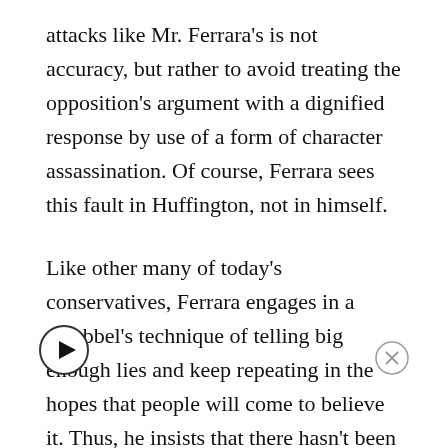attacks like Mr. Ferrara's is not accuracy, but rather to avoid treating the opposition's argument with a dignified response by use of a form of character assassination. Of course, Ferrara sees this fault in Huffington, not in himself.
Like other many of today's conservatives, Ferrara engages in a Goebbel's technique of telling big enough lies and keep repeating in the hopes that people will come to believe it. Thus, he insists that there hasn't been any increase in the world's temperature despite multiple scientific studies now that it has. (Just to name one: Hansen, J.E., and S. Lebedeff, 1987: Global trends of